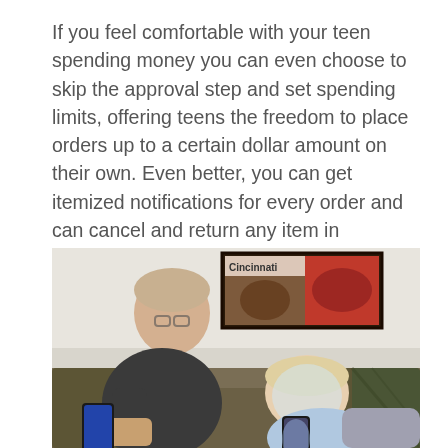If you feel comfortable with your teen spending money you can even choose to skip the approval step and set spending limits, offering teens the freedom to place orders up to a certain dollar amount on their own. Even better, you can get itemized notifications for every order and can cancel and return any item in accordance with Amazon's policies.
[Figure (photo): A man and a teenager sitting on a couch, both looking at their smartphones. A framed artwork labeled 'Cincinnati' is hanging on the wall in the background.]